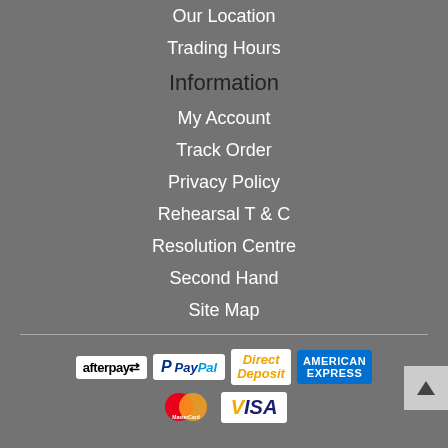Our Location
Trading Hours
Information
My Account
Track Order
Privacy Policy
Rehearsal T & C
Resolution Centre
Second Hand
Site Map
[Figure (logo): Payment methods: afterpay, PayPal, Direct Deposit, American Express, MasterCard, VISA]